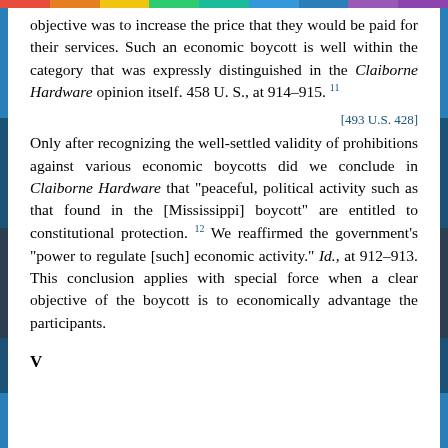objective was to increase the price that they would be paid for their services. Such an economic boycott is well within the category that was expressly distinguished in the Claiborne Hardware opinion itself. 458 U. S., at 914–915. 11
[493 U.S. 428]
Only after recognizing the well-settled validity of prohibitions against various economic boycotts did we conclude in Claiborne Hardware that "peaceful, political activity such as that found in the [Mississippi] boycott" are entitled to constitutional protection. 12 We reaffirmed the government's "power to regulate [such] economic activity." Id., at 912–913. This conclusion applies with special force when a clear objective of the boycott is to economically advantage the participants.
V